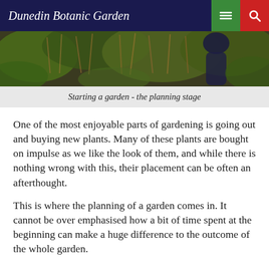Dunedin Botanic Garden
[Figure (photo): Photograph of a person working in a garden with dense foliage and dried grass/reeds in the background]
Starting a garden - the planning stage
One of the most enjoyable parts of gardening is going out and buying new plants. Many of these plants are bought on impulse as we like the look of them, and while there is nothing wrong with this, their placement can be often an afterthought.
This is where the planning of a garden comes in. It cannot be over emphasised how a bit of time spent at the beginning can make a huge difference to the outcome of the whole garden.